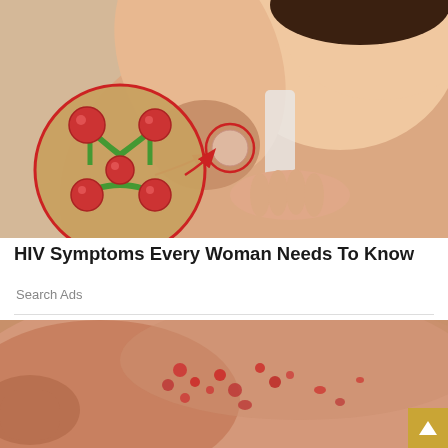[Figure (photo): Medical photo showing a woman's underarm area with a swollen lymph node bump, with a circular inset diagram showing inflamed red lymph nodes on green lymphatic vessels against a beige background.]
HIV Symptoms Every Woman Needs To Know
Search Ads
[Figure (photo): Close-up photo of skin showing red rash spots/lesions on what appears to be a person's back or torso, with a hand visible at the edge of the frame.]